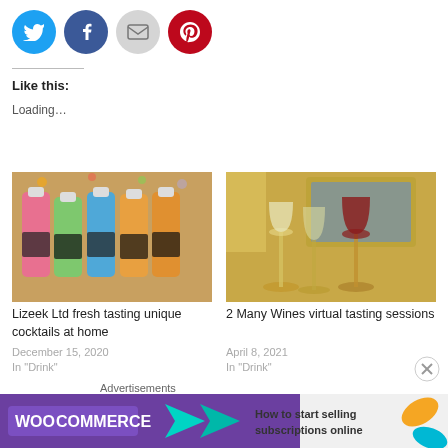[Figure (infographic): Social sharing buttons: Twitter (blue circle), Facebook (blue circle), Email (gray circle), Pinterest (red circle)]
Like this:
Loading…
[Figure (photo): Photo of colorful cocktail bottles (pink, green, blue, orange) with black labels, Christmas tree background. Caption: Lizeek Ltd fresh tasting unique cocktails at home. Date: December 15, 2020. Category: In 'Drink']
[Figure (photo): Photo of wine glasses on a table with a laptop in the background. Caption: 2 Many Wines virtual tasting sessions. Date: April 8, 2021. Category: In 'Drink']
Advertisements
[Figure (infographic): WooCommerce advertisement banner: How to start selling subscriptions online]